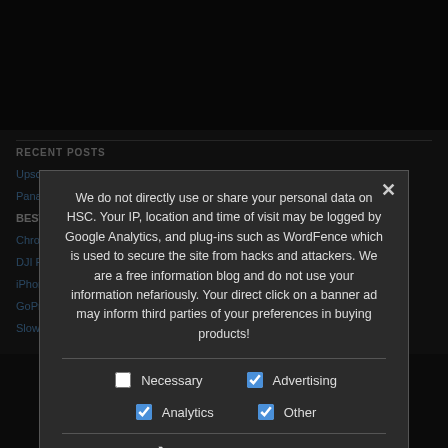RECENT POSTS
Upscaling...
Panasonic...
BEST SLOW MO...
Chronos Camera... Support
DJI Ronin 4D Delivers... Revolution!
iPhone 13 is years behind in Slow Motion...
GoPro Hero 10 Leaks with 240fps...This...
Slow Motion Videos You Have to See!
We do not directly use or share your personal data on HSC. Your IP, location and time of visit may be logged by Google Analytics, and plug-ins such as WordFence which is used to secure the site from hacks and attackers. We are a free information blog and do not use your information nefariously. Your direct click on a banner ad may inform third parties of your preferences in buying products!
Necessary | Advertising | Analytics | Other
Privacy Preferences
I Agree